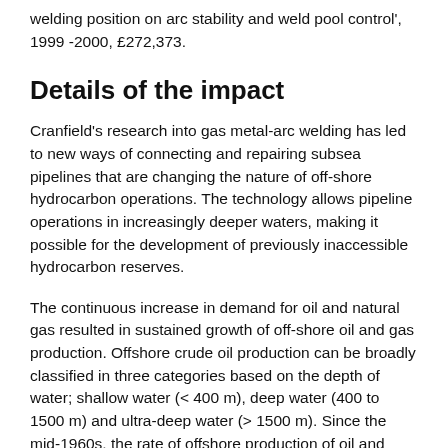welding position on arc stability and weld pool control', 1999 -2000, £272,373.
Details of the impact
Cranfield's research into gas metal-arc welding has led to new ways of connecting and repairing subsea pipelines that are changing the nature of off-shore hydrocarbon operations. The technology allows pipeline operations in increasingly deeper waters, making it possible for the development of previously inaccessible hydrocarbon reserves.
The continuous increase in demand for oil and natural gas resulted in sustained growth of off-shore oil and gas production. Offshore crude oil production can be broadly classified in three categories based on the depth of water; shallow water (< 400 m), deep water (400 to 1500 m) and ultra-deep water (> 1500 m). Since the mid-1960s, the rate of offshore production of oil and natural gas growth was on a rise till about middle of 1990s, when offshore production reached a plateau. This could be attributed to the depletion of fossil fuel in the shallow water region as deep-sea exploration showed a